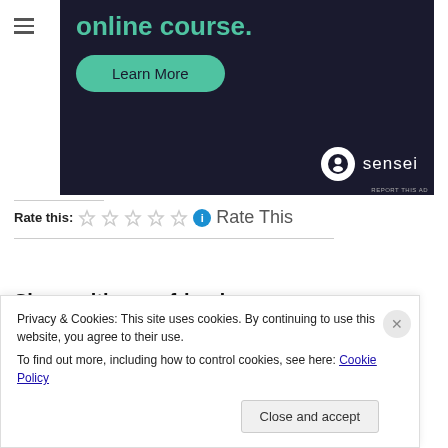[Figure (screenshot): Dark-themed advertisement banner for an online course with 'online course.' title text in teal, a green 'Learn More' button, and the Sensei logo in the bottom right corner.]
Rate this: ☆☆☆☆☆ ℹ Rate This
Share with your friends:
[Figure (screenshot): Social sharing icons: Facebook (blue), Twitter (light blue), Pinterest (red), Tumblr (dark blue), StumbleUpon (grey)]
Privacy & Cookies: This site uses cookies. By continuing to use this website, you agree to their use.
To find out more, including how to control cookies, see here: Cookie Policy
Close and accept